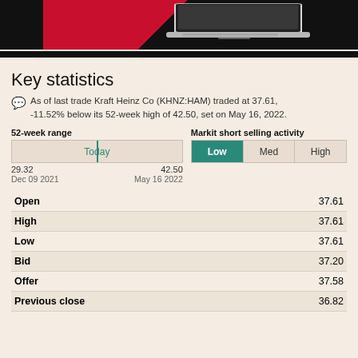[Figure (photo): Advertisement banner showing a laptop on a red and black background]
Key statistics
As of last trade Kraft Heinz Co (KHNZ:HAM) traded at 37.61, -11.52% below its 52-week high of 42.50, set on May 16, 2022.
| 52-week range | Today |
| --- | --- |
| 29.32 | 42.50 |
| Dec 09 2021 | May 16 2022 |
| Markit short selling activity | Low | Med | High |
| --- | --- | --- | --- |
|  |  |
| --- | --- |
| Open | 37.61 |
| High | 37.61 |
| Low | 37.61 |
| Bid | 37.20 |
| Offer | 37.58 |
| Previous close | 36.82 |